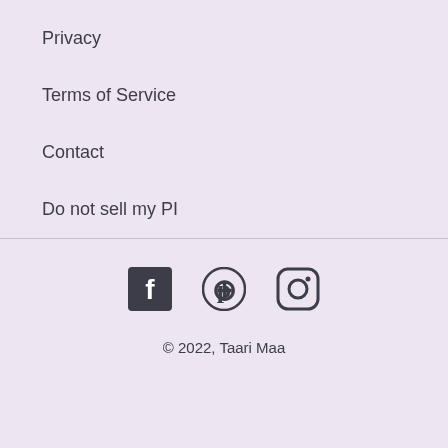Privacy
Terms of Service
Contact
Do not sell my PI
[Figure (illustration): Social media icons: Facebook, Pinterest, Instagram]
© 2022, Taari Maa